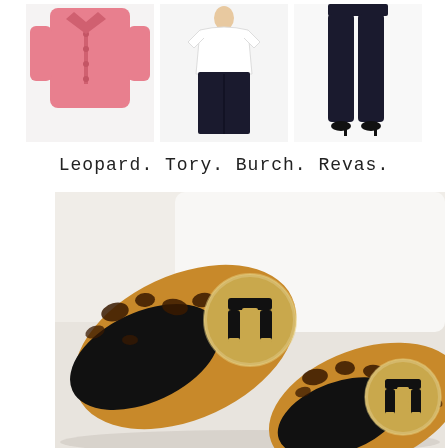[Figure (photo): Three small product thumbnail images in a row: a pink coat/jacket on the left, a white t-shirt with dark jeans in the center, and dark skinny jeans with black heels on the right]
Leopard. Tory. Burch. Revas.
[Figure (photo): Close-up photo of two Tory Burch leopard print Reva ballet flats with gold logo medallions, placed on a white surface]